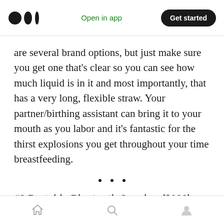Open in app | Get started
are several brand options, but just make sure you get one that’s clear so you can see how much liquid is in it and most importantly, that has a very long, flexible straw. Your partner/birthing assistant can bring it to your mouth as you labor and it’s fantastic for the thirst explosions you get throughout your time breastfeeding.
#2 Portable Bluetooth Speaker ($100) + Ready to Go Playlists on Spotify/Cell Phone